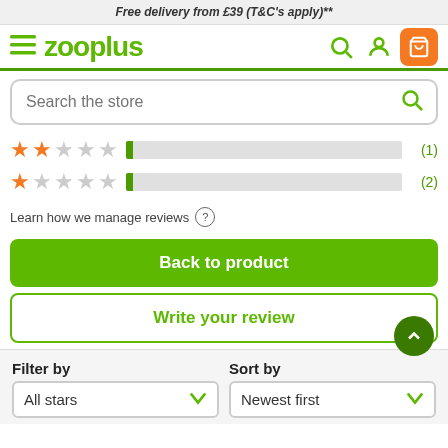Free delivery from £39 (T&C's apply)**
[Figure (logo): Zooplus logo with navigation icons (hamburger menu, search, account, cart)]
Search the store
[Figure (infographic): Star rating bars: 2-star row with 1 review, 1-star row with 2 reviews]
Learn how we manage reviews ?
Back to product
Write your review
Filter by
Sort by
All stars
Newest first